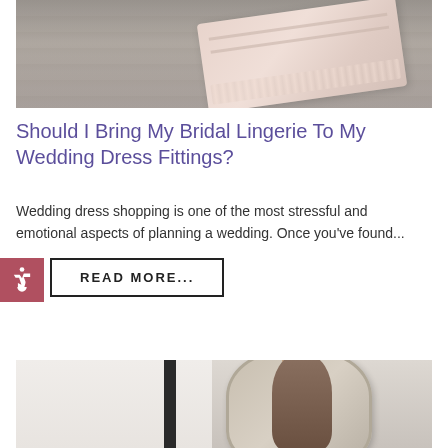[Figure (photo): Photo of blush/pink bridal lingerie laid on a grey wooden surface]
Should I Bring My Bridal Lingerie To My Wedding Dress Fittings?
Wedding dress shopping is one of the most stressful and emotional aspects of planning a wedding. Once you've found...
READ MORE...
[Figure (photo): Photo of a woman in a bridal boutique standing in front of an ornate mirror]